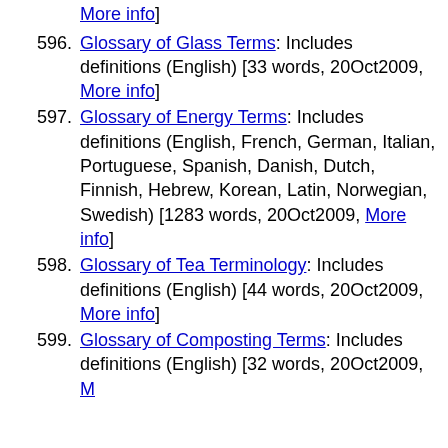definitions (English) [101 words, 21Nov2008, More info]
596. Glossary of Glass Terms: Includes definitions (English) [33 words, 20Oct2009, More info]
597. Glossary of Energy Terms: Includes definitions (English, French, German, Italian, Portuguese, Spanish, Danish, Dutch, Finnish, Hebrew, Korean, Latin, Norwegian, Swedish) [1283 words, 20Oct2009, More info]
598. Glossary of Tea Terminology: Includes definitions (English) [44 words, 20Oct2009, More info]
599. Glossary of Composting Terms: Includes definitions (English) [32 words, 20Oct2009, More info]